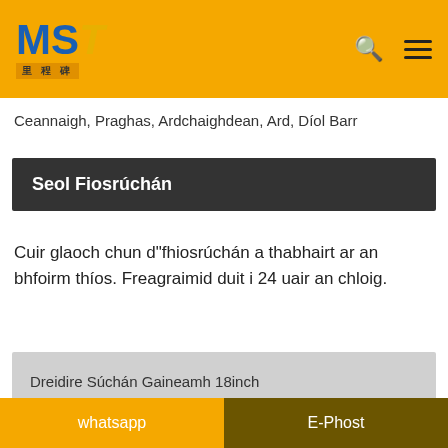MST 里程碑
Ceannaigh, Praghas, Ardchaighdean, Ard, Díol Barr
Seol Fiosrúchán
Cuir glaoch chun d"fhiosrúchán a thabhairt ar an bhfoirm thíos. Freagraimid duit i 24 uair an chloig.
Dreidire Súchán Gaineamh 18inch
Cuideachta
Ríomhphost*
whatsapp | E-Phost